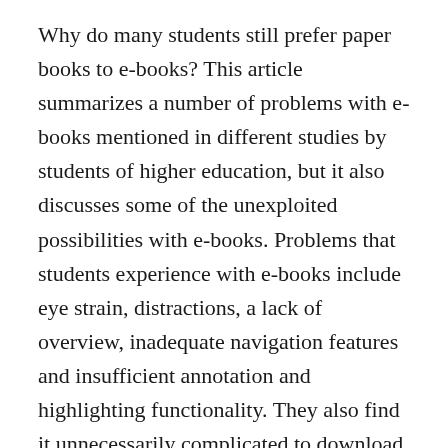Why do many students still prefer paper books to e-books? This article summarizes a number of problems with e-books mentioned in different studies by students of higher education, but it also discusses some of the unexploited possibilities with e-books. Problems that students experience with e-books include eye strain, distractions, a lack of overview, inadequate navigation features and insufficient annotation and highlighting functionality. They also find it unnecessarily complicated to download DRM-protected e-books. Some of these problems can be solved by using a more suitable device. For example, a mobile device that can be held in a book-like position reduces eye strain, while a device with a bigger screen provides a better overview of the text. Other problems